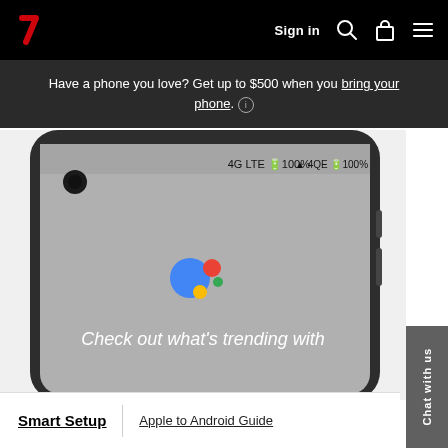Verizon — Sign in (navigation bar with logo, search, cart, menu icons)
Have a phone you love? Get up to $500 when you bring your phone. ℹ
[Figure (photo): Smartphone (Google Pixel) showing Google Assistant logo on screen with status bar showing 4G LTE and 100% battery. Screen displays 'Check out what's trending with' text partially visible.]
Smart Setup | Apple to Android Guide
Chat with us